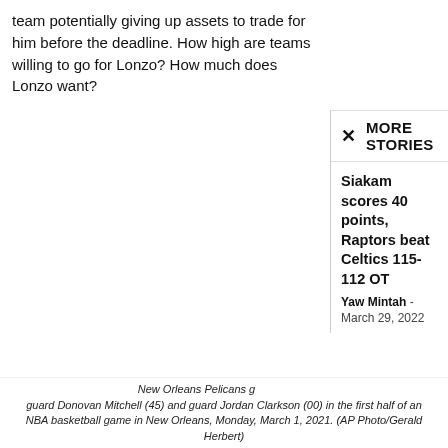team potentially giving up assets to trade for him before the deadline. How high are teams willing to go for Lonzo? How much does Lonzo want?
MORE STORIES
Siakam scores 40 points, Raptors beat Celtics 115-112 OT
Yaw Mintah - March 29, 2022
New Orleans Pelicans g … guard Donovan Mitchell (45) and guard Jordan Clarkson (00) in the first half of an NBA basketball game in New Orleans, Monday, March 1, 2021. (AP Photo/Gerald Herbert)